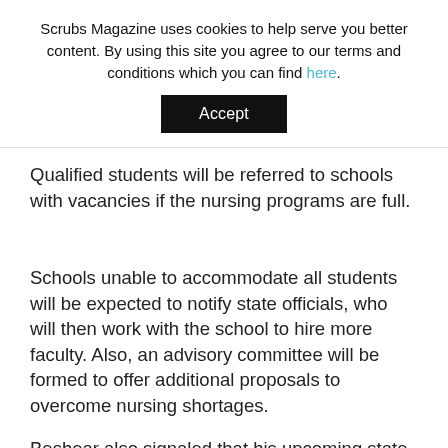Scrubs Magazine uses cookies to help serve you better content. By using this site you agree to our terms and conditions which you can find here.
Accept
Qualified students will be referred to schools with vacancies if the nursing programs are full.
Schools unable to accommodate all students will be expected to notify state officials, who will then work with the school to hire more faculty. Also, an advisory committee will be formed to offer additional proposals to overcome nursing shortages.
Beshear also signaled that his upcoming state budget